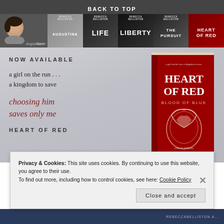BACK TO TOP
[Figure (screenshot): Navigation bar with author photo, book cover thumbnails for Augustina, Life, Liberty, The Pursuit, Heart of Red]
[Figure (photo): Book promotional image: 'NOW AVAILABLE — a girl on the run... a kingdom to save — choosing him saves only me — HEART OF RED' with book cover for Heart of Red / Blood of Blue by Rebecca Belliston]
Privacy & Cookies: This site uses cookies. By continuing to use this website, you agree to their use.
To find out more, including how to control cookies, see here: Cookie Policy
Close and accept